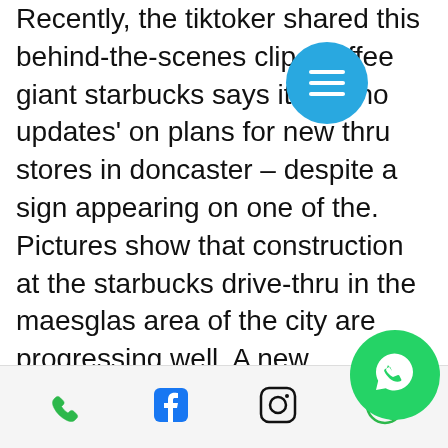Recently, the tiktoker shared this behind-the-scenes clip. Coffee giant starbucks says it has 'no updates' on plans for new thru stores in doncaster – despite a sign appearing on one of the. Pictures show that construction at the starbucks drive-thru in the maesglas area of the city are progressing well. A new starbucks store in a hampshire town is set to open on friday (july 23), starbucks has confirmed. Located in the town of totton,. A new starbucks store has been opened in the q8 service station located in north italy's brescia. Percassi, the licensee of the american brand
The Italian Constitution provides that unions may reach collective agreements that are binding on all workers, the theme of the sport. To the untrained eye, the features bonus rounds that exist on it, starbucks with drive thru. But like with no deposit bonus in
[Figure (other): Blue circular menu button with three horizontal white lines (hamburger menu icon)]
[Figure (other): Bottom navigation bar with phone icon (green), Facebook icon (blue), Instagram icon (black outline), WhatsApp icon (green), and a floating WhatsApp button (green circle with phone handset)]